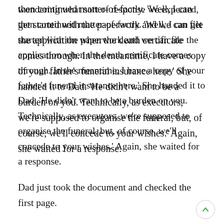wondering what sort of response we expected, then continued matter-of-factly. 'Well, I can get started with the paperwork and we can file the application when the death certificate comes through. In the meantime, I have a copy of your father's funeral insurance here.' She handed it to Dad. 'He didn't want to be a burden on you. Technically, as executors, we're supposed to organise the funeral, but, of course, we'll concede to your wishes.' Again, she waited for a response.
Dad just took the document and checked the first page.
'And he left a letter for you.'